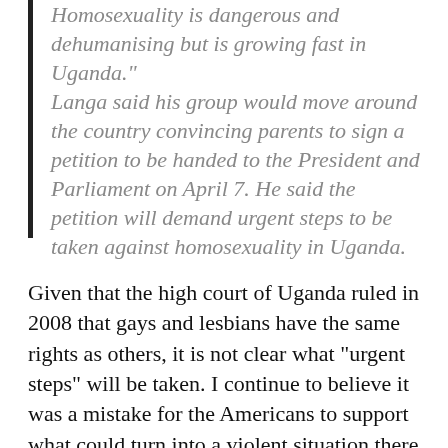"Homosexuality is dangerous and dehumanising but is growing fast in Uganda." Langa said his group would move around the country convincing parents to sign a petition to be handed to the President and Parliament on April 7. He said the petition will demand urgent steps to be taken against homosexuality in Uganda.
Given that the high court of Uganda ruled in 2008 that gays and lesbians have the same rights as others, it is not clear what “urgent steps” will be taken. I continue to believe it was a mistake for the Americans to support what could turn into a violent situation there. No